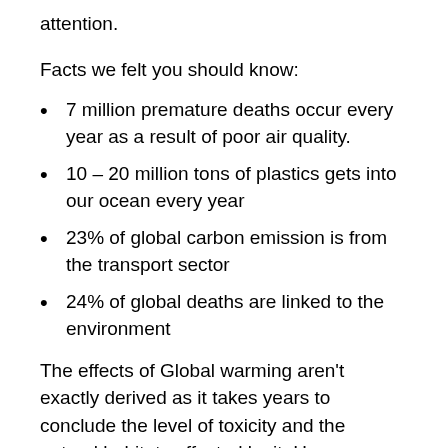attention.
Facts we felt you should know:
7 million premature deaths occur every year as a result of poor air quality.
10 – 20 million tons of plastics gets into our ocean every year
23% of global carbon emission is from the transport sector
24% of global deaths are linked to the environment
The effects of Global warming aren't exactly derived as it takes years to conclude the level of toxicity and the natural habitats affected by it. Human consumption